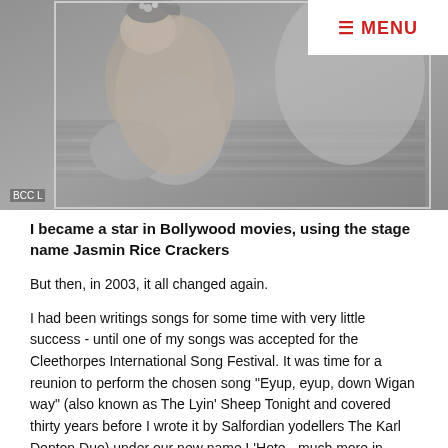[Figure (photo): Black and white photograph of people in elaborate costumes, appearing to be from a Bollywood or theatrical production. Two figures are visible reclining/posing, wearing ornate headpieces and costumes. A 'BCCL' watermark label is visible in the bottom-left corner.]
I became a star in Bollywood movies, using the stage name Jasmin Rice Crackers
But then, in 2003, it all changed again.
I had been writings songs for some time with very little success - until one of my songs was accepted for the Cleethorpes International Song Festival. It was time for a reunion to perform the chosen song "Eyup, eyup, down Wigan way" (also known as The Lyin' Sheep Tonight and covered thirty years before I wrote it by Salfordian yodellers The Karl Denton Duo) under our new name L'Hote - much more in keeping with the current trends.
We practiced the song and the new stage routines, once again contacting Abe to create a Beatle suit that could have the trousers ripped off to reveal Beatle shorts underneath. He agreed and they looked just fab on us. Almost worth paying for ... almost.